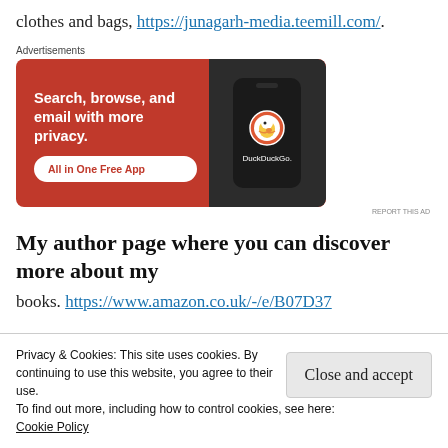clothes and bags, https://junagarh-media.teemill.com/.
[Figure (screenshot): DuckDuckGo advertisement banner with orange background. Text reads: 'Search, browse, and email with more privacy. All in One Free App'. Shows a smartphone with DuckDuckGo logo and brand name.]
Advertisements
My author page where you can discover more about my
books. https://www.amazon.co.uk/-/e/B07D37...
Privacy & Cookies: This site uses cookies. By continuing to use this website, you agree to their use.
To find out more, including how to control cookies, see here: Cookie Policy